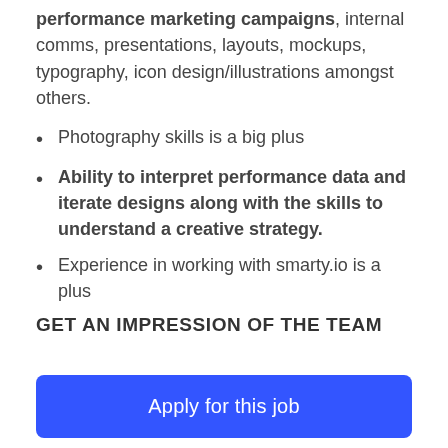performance marketing campaigns, internal comms, presentations, layouts, mockups, typography, icon design/illustrations amongst others.
Photography skills is a big plus
Ability to interpret performance data and iterate designs along with the skills to understand a creative strategy.
Experience in working with smarty.io is a plus
GET AN IMPRESSION OF THE TEAM
Apply for this job